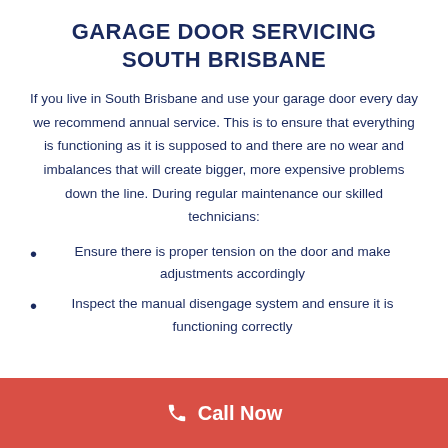GARAGE DOOR SERVICING SOUTH BRISBANE
If you live in South Brisbane and use your garage door every day we recommend annual service. This is to ensure that everything is functioning as it is supposed to and there are no wear and imbalances that will create bigger, more expensive problems down the line. During regular maintenance our skilled technicians:
Ensure there is proper tension on the door and make adjustments accordingly
Inspect the manual disengage system and ensure it is functioning correctly
Call Now